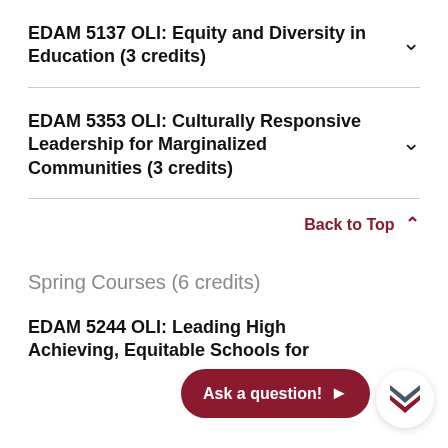EDAM 5137 OLI: Equity and Diversity in Education (3 credits)
EDAM 5353 OLI: Culturally Responsive Leadership for Marginalized Communities (3 credits)
Back to Top
Spring Courses (6 credits)
EDAM 5244 OLI: Leading High Achieving, Equitable Schools for
Ask a question!